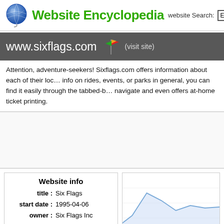Website Encyclopedia  website Search: EN
www.sixflags.com (visit site)
Attention, adventure-seekers! Sixflags.com offers information about each of their locations. Whether you need info on rides, events, or parks in general, you can find it easily through the tabbed-browsing system. It is easy to navigate and even offers at-home ticket printing.
|  |  |
| --- | --- |
| title : | Six Flags |
| start date : | 1995-04-06 |
| owner : | Six Flags Inc |
| street : | 924 Ave J-E |
[Figure (line-chart): A line chart showing website traffic/popularity over time with a peak and then decline, light blue line on white background.]